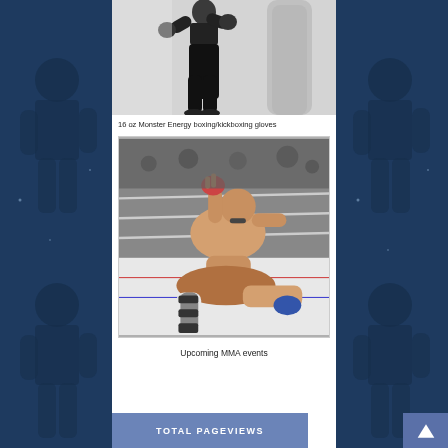[Figure (photo): Person in black outfit in boxing/kickboxing stance with punching bag]
16 oz Monster Energy boxing/kickboxing gloves
[Figure (photo): MMA fighter in a ring holding an opponent on the ground, celebrating]
Upcoming MMA events
TOTAL PAGEVIEWS